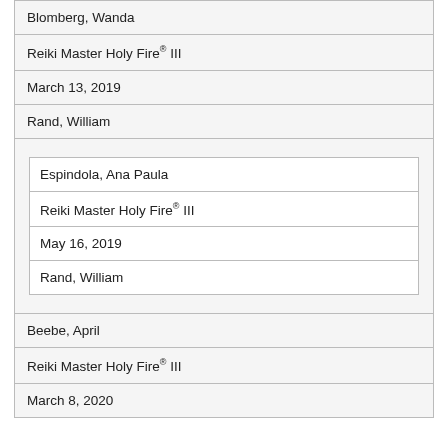| Blomberg, Wanda |
| Reiki Master Holy Fire® III |
| March 13, 2019 |
| Rand, William |
| [nested: Espindola, Ana Paula | Reiki Master Holy Fire® III | May 16, 2019 | Rand, William] |
| Beebe, April |
| Reiki Master Holy Fire® III |
| March 8, 2020 |